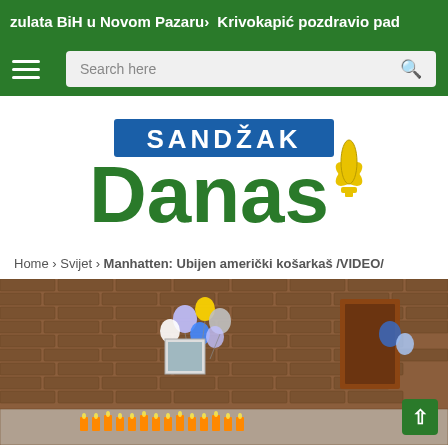zulata BiH u Novom Pazaru > Krivokapić pozdravio pad
[Figure (logo): Sandžak Danas logo with green text and blue banner and yellow fleur-de-lis]
Home > Svijet > Manhatten: Ubijen američki košarkaš /VIDEO/
[Figure (photo): Memorial scene on a brick wall street with balloons and candles on the sidewalk]